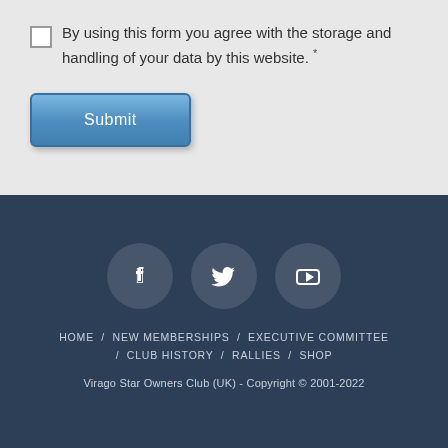By using this form you agree with the storage and handling of your data by this website. *
Submit
HOME / NEW MEMBERSHIPS / EXECUTIVE COMMITTEE / CLUB HISTORY / RALLIES / SHOP
Virago Star Owners Club (UK) - Copyright © 2001-2022